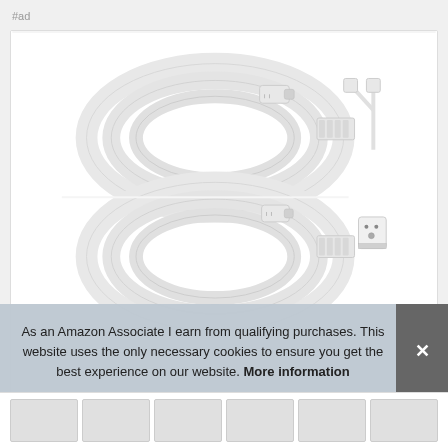#ad
[Figure (photo): Product listing photo showing two white LED RGB extension cables coiled into oval loops with 4-pin connectors on each end, plus a Y-splitter cable shown to the right side. Two cable sets shown stacked vertically. On the right side, close-up detail shots of the connectors are shown.]
As an Amazon Associate I earn from qualifying purchases. This website uses the only necessary cookies to ensure you get the best experience on our website. More information